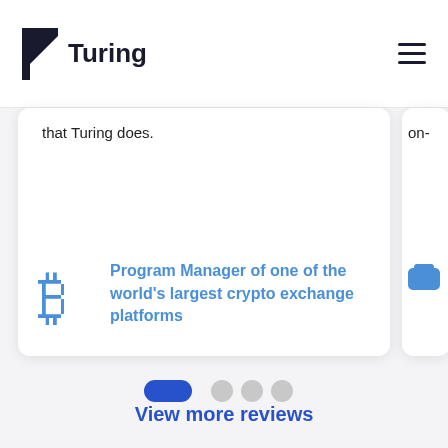Turing
that Turing does.
Program Manager of one of the world's largest crypto exchange platforms
on-
View more reviews